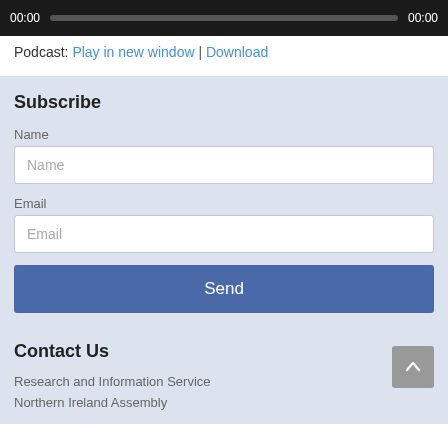[Figure (screenshot): Audio player bar showing 00:00 timestamp on left, grey progress bar in center, 00:00 on right, dark background]
Podcast: Play in new window | Download
Subscribe
Name
Name (placeholder in input field)
Email
Email (placeholder in input field)
Send
Contact Us
Research and Information Service
Northern Ireland Assembly